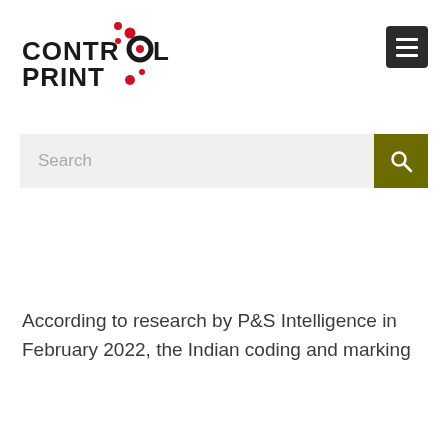[Figure (logo): Control Print logo with red dots and bold black text reading CONTROL PRINT]
[Figure (other): Hamburger menu icon — three white horizontal lines on dark grey/black square background]
[Figure (other): Search bar with grey background showing placeholder text 'Search' and an olive/dark yellow search button with magnifying glass icon]
According to research by P&S Intelligence in February 2022, the Indian coding and marking